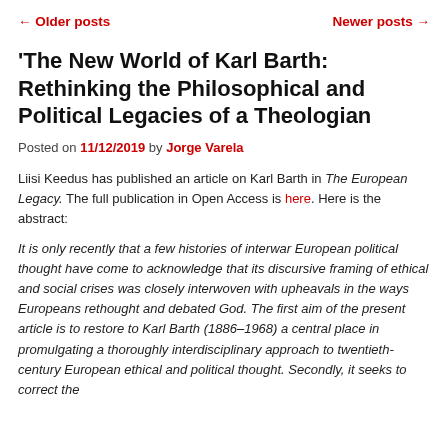← Older posts    Newer posts →
'The New World of Karl Barth: Rethinking the Philosophical and Political Legacies of a Theologian
Posted on 11/12/2019 by Jorge Varela
Liisi Keedus has published an article on Karl Barth in The European Legacy. The full publication in Open Access is here. Here is the abstract:
It is only recently that a few histories of interwar European political thought have come to acknowledge that its discursive framing of ethical and social crises was closely interwoven with upheavals in the ways Europeans rethought and debated God. The first aim of the present article is to restore to Karl Barth (1886–1968) a central place in promulgating a thoroughly interdisciplinary approach to twentieth-century European ethical and political thought. Secondly, it seeks to correct the